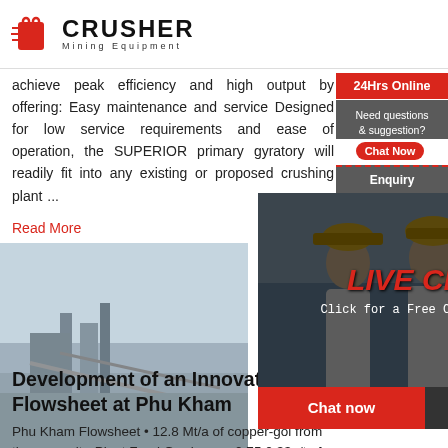[Figure (logo): Crusher Mining Equipment logo with red shopping bag icon and bold CRUSHER text]
achieve peak efficiency and high output by offering: Easy maintenance and service Designed for low service requirements and ease of operation, the SUPERIOR primary gyratory will readily fit into any existing or proposed crushing plant ...
Read More
[Figure (photo): Mining site with conveyor belts and industrial equipment]
[Figure (photo): Live Chat popup with workers in hard hats and consultation CTA with Chat now and Chat later buttons]
[Figure (photo): Customer service lady with headset on right side]
24Hrs Online
Need questions & suggestion?
Chat Now
Enquiry
limingjlmofen@sina.com
Development of an Innovative Co Flowsheet at Phu Kham
Phu Kham Flowsheet • 12.8 Mt/a of copper-gold from the open pit • Plant Feed Grades are 0.75 0.33g/t of Au and 3.8g/t of Ag • Concentrate qu